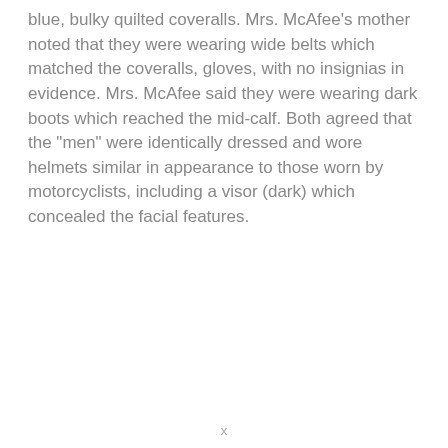blue, bulky quilted coveralls. Mrs. McAfee's mother noted that they were wearing wide belts which matched the coveralls, gloves, with no insignias in evidence. Mrs. McAfee said they were wearing dark boots which reached the mid-calf. Both agreed that the "men" were identically dressed and wore helmets similar in appearance to those worn by motorcyclists, including a visor (dark) which concealed the facial features.
x